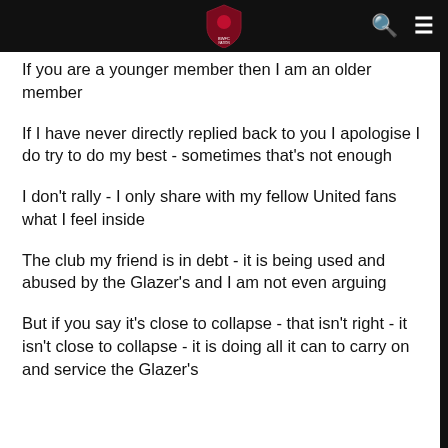If you are a younger member then I am an older member
If I have never directly replied back to you I apologise I do try to do my best - sometimes that's not enough
I don't rally - I only share with my fellow United fans what I feel inside
The club my friend is in debt - it is being used and abused by the Glazer's and I am not even arguing
But if you say it's close to collapse - that isn't right - it isn't close to collapse - it is doing all it can to carry on and service the Glazer's